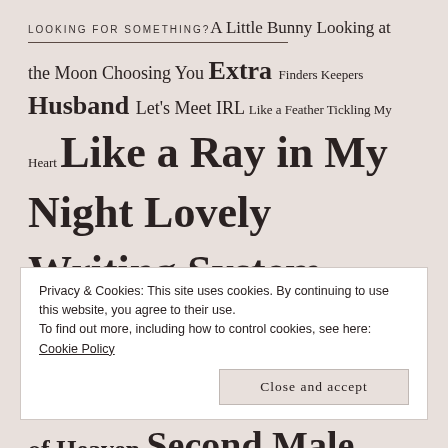LOOKING FOR SOMETHING? A Little Bunny Looking at
the Moon Choosing You Extra Finders Keepers Husband Let's Meet IRL Like a Feather Tickling My Heart Like a Ray in My Night Lovely Writing System Madam Yan's Matchmaking Pavilion for Men Oh. My. Fate?! Review Romancing the Son of Heaven Second Male Lead Sons of Nature
Privacy & Cookies: This site uses cookies. By continuing to use this website, you agree to their use.
To find out more, including how to control cookies, see here: Cookie Policy
Close and accept